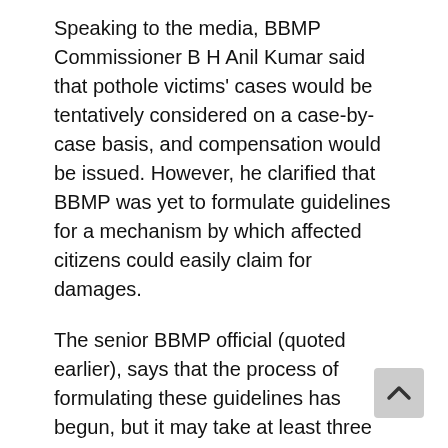Speaking to the media, BBMP Commissioner B H Anil Kumar said that pothole victims' cases would be tentatively considered on a case-by-case basis, and compensation would be issued. However, he clarified that BBMP was yet to formulate guidelines for a mechanism by which affected citizens could easily claim for damages.
The senior BBMP official (quoted earlier), says that the process of formulating these guidelines has begun, but it may take at least three more months for an appropriate compensation mechanism to be in place.
Is BBMP fixing potholes?
Repeated instances of injuries and deaths due to infrastructural terror are almost regarded as ‘collat damage’ for living in Bengaluru. After such incidents,